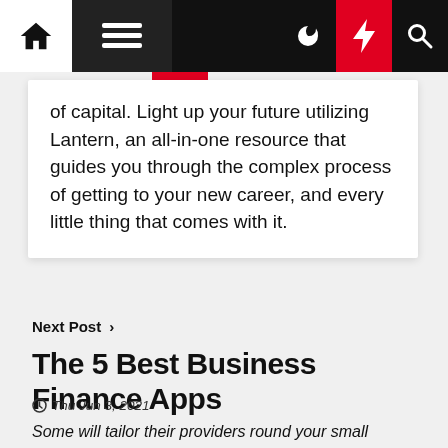Navigation bar with home, menu, moon, bolt, and search icons
of capital. Light up your future utilizing Lantern, an all-in-one resource that guides you through the complex process of getting to your new career, and every little thing that comes with it.
Next Post >
The 5 Best Business Finance Apps
Thu Jun 3, 2021
Some will tailor their providers round your small business, whereas others may have a more standardized method. With Shopify Capital, you get